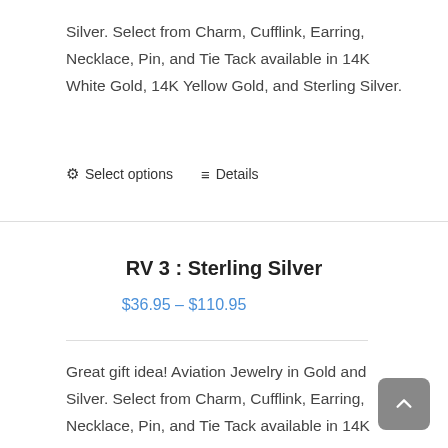Silver. Select from Charm, Cufflink, Earring, Necklace, Pin, and Tie Tack available in 14K White Gold, 14K Yellow Gold, and Sterling Silver.
⚙ Select options  ≡ Details
RV 3 : Sterling Silver
$36.95 – $110.95
Great gift idea! Aviation Jewelry in Gold and Silver. Select from Charm, Cufflink, Earring, Necklace, Pin, and Tie Tack available in 14K